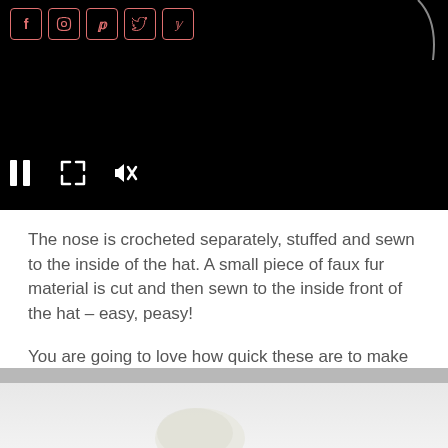[Figure (screenshot): Black video player with social media icons (Facebook, Pinterest, Twitter, Instagram, YouTube) at top left, and video controls (pause, expand, mute) at bottom left. A decorative curved line partially visible at top right.]
The nose is crocheted separately, stuffed and sewn to the inside of the hat. A small piece of faux fur material is cut and then sewn to the inside front of the hat – easy, peasy!
You are going to love how quick these are to make and how cute your finished product is – perfect for gift giving this holiday season!
[Figure (photo): Bottom portion of a photo showing a light gray/white background with what appears to be a crocheted item or yarn ball object at the bottom center.]